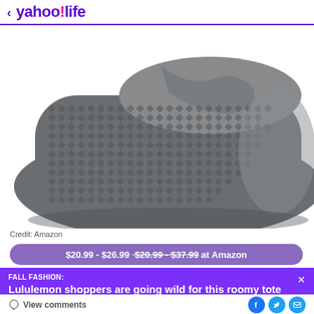< yahoo!life
[Figure (photo): Close-up photo of a folded grey textured blanket/throw with waffle knit pattern, shown on white background]
Credit: Amazon
$20.99 - $26.99 $20.99 - $37.99 at Amazon
FALL FASHION: Lululemon shoppers are going wild for this roomy tote
View comments